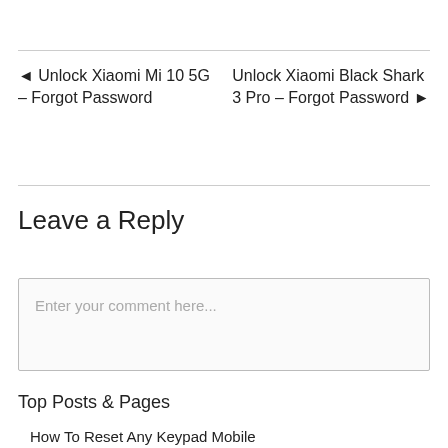◄ Unlock Xiaomi Mi 10 5G – Forgot Password
Unlock Xiaomi Black Shark 3 Pro – Forgot Password ►
Leave a Reply
Enter your comment here...
Top Posts & Pages
How To Reset Any Keypad Mobile